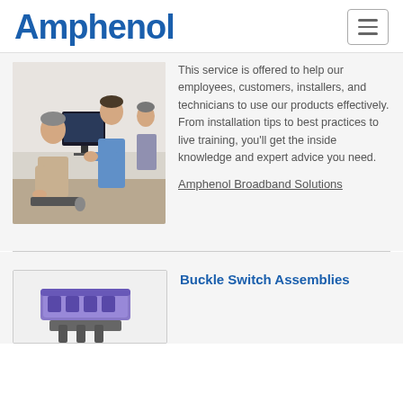Amphenol
[Figure (photo): Two men and another person in background working at desktop computers in an office environment]
This service is offered to help our employees, customers, installers, and technicians to use our products effectively. From installation tips to best practices to live training, you'll get the inside knowledge and expert advice you need.
Amphenol Broadband Solutions
[Figure (photo): Buckle switch assembly product image showing a purple/blue connector assembly]
Buckle Switch Assemblies